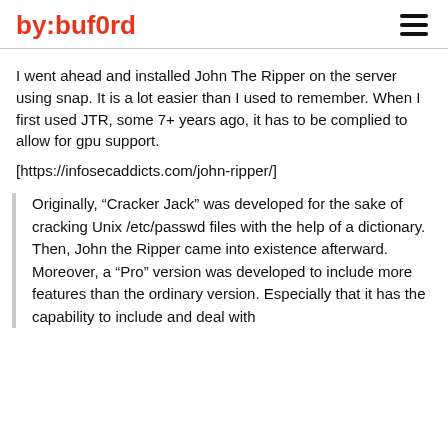by:buf0rd
I went ahead and installed John The Ripper on the server using snap. It is a lot easier than I used to remember. When I first used JTR, some 7+ years ago, it has to be complied to allow for gpu support.
[https://infosecaddicts.com/john-ripper/]
Originally, “Cracker Jack” was developed for the sake of cracking Unix /etc/passwd files with the help of a dictionary. Then, John the Ripper came into existence afterward. Moreover, a “Pro” version was developed to include more features than the ordinary version. Especially that it has the capability to include and deal with